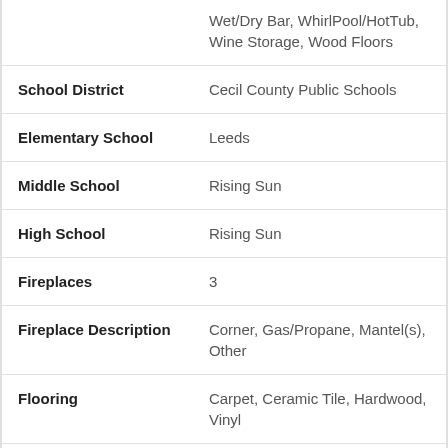| Field | Value |
| --- | --- |
|  | Wet/Dry Bar, WhirlPool/HotTub, Wine Storage, Wood Floors |
| School District | Cecil County Public Schools |
| Elementary School | Leeds |
| Middle School | Rising Sun |
| High School | Rising Sun |
| Fireplaces | 3 |
| Fireplace Description | Corner, Gas/Propane, Mantel(s), Other |
| Flooring | Carpet, Ceramic Tile, Hardwood, Vinyl |